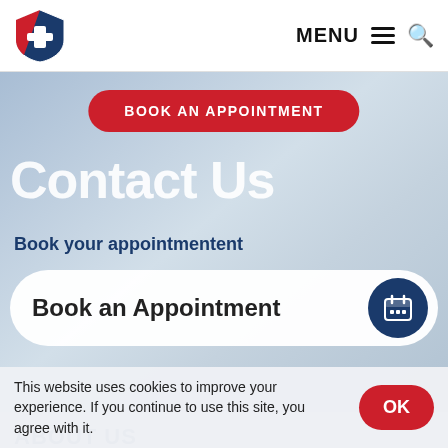[Figure (logo): Genesis Medical Group shield logo with red and blue colors and a white cross]
MENU ☰ 🔍
BOOK AN APPOINTMENT
Contact Us
Book your appointmentent
Book an Appointment
ABOUT US
Genesis Medical Group is a multi-specialty group of 50+ highly qualified health care professionals that have served
This website uses cookies to improve your experience. If you continue to use this site, you agree with it.